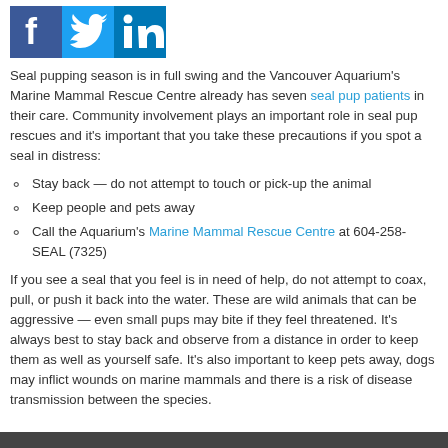[Figure (logo): Social media icons: Facebook, Twitter, LinkedIn]
Seal pupping season is in full swing and the Vancouver Aquarium's Marine Mammal Rescue Centre already has seven seal pup patients in their care. Community involvement plays an important role in seal pup rescues and it's important that you take these precautions if you spot a seal in distress:
Stay back — do not attempt to touch or pick-up the animal
Keep people and pets away
Call the Aquarium's Marine Mammal Rescue Centre at 604-258-SEAL (7325)
If you see a seal that you feel is in need of help, do not attempt to coax, pull, or push it back into the water. These are wild animals that can be aggressive — even small pups may bite if they feel threatened. It's always best to stay back and observe from a distance in order to keep them as well as yourself safe. It's also important to keep pets away, dogs may inflict wounds on marine mammals and there is a risk of disease transmission between the species.